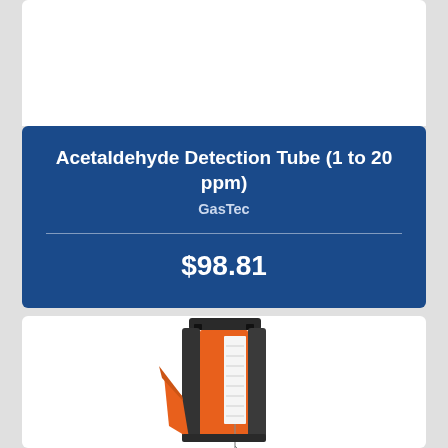[Figure (photo): Top portion of a white product card, partially visible at top of page]
Acetaldehyde Detection Tube (1 to 20 ppm)
GasTec
$98.81
[Figure (photo): Product photo showing an orange and dark gray/black handheld gas detection device with a probe/needle, partially cropped at bottom of page]